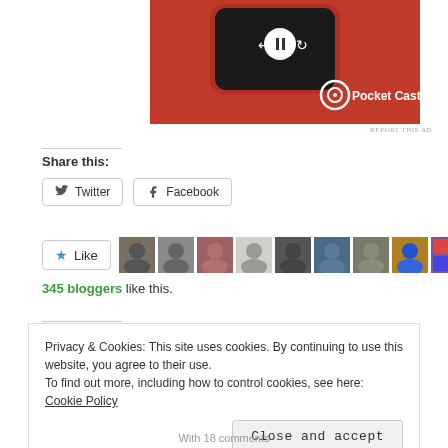[Figure (photo): Pocket Casts app advertisement showing a red phone with a podcast player interface and the Pocket Casts logo on a red background]
REPORT THIS AD
Share this:
Twitter
Facebook
[Figure (other): Like button with star icon and a row of blogger avatar profile photos]
345 bloggers like this.
Privacy & Cookies: This site uses cookies. By continuing to use this website, you agree to their use.
To find out more, including how to control cookies, see here: Cookie Policy
Close and accept
With 18 comments